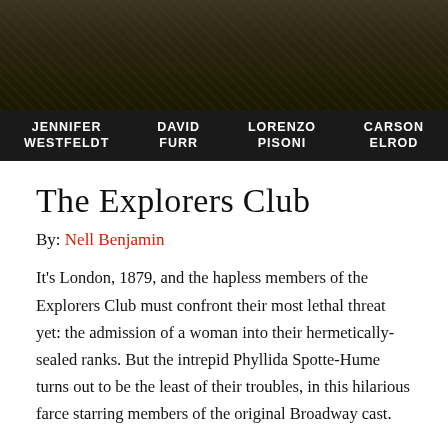[Figure (photo): Dark textured banner image with olive/khaki toned background resembling aged parchment or foliage]
JENNIFER WESTFELDT  DAVID FURR  LORENZO PISONI  CARSON ELROD
The Explorers Club
By: Nell Benjamin
It's London, 1879, and the hapless members of the Explorers Club must confront their most lethal threat yet: the admission of a woman into their hermetically-sealed ranks. But the intrepid Phyllida Spotte-Hume turns out to be the least of their troubles, in this hilarious farce starring members of the original Broadway cast.